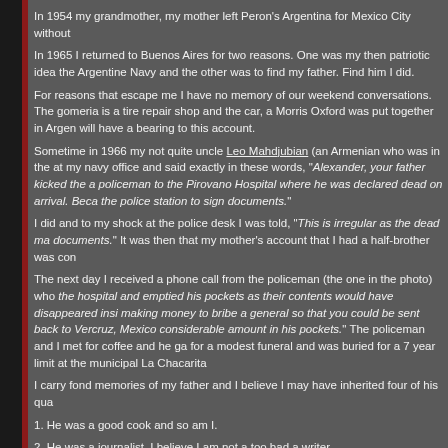In 1954 my grandmother, my mother left Peron's Argentina for Mexico City without...
In 1965 I returned to Buenos Aires for two reasons. One was my then patriotic idea the Argentine Navy and the other was to find my father. Find him I did.
For reasons that escape me I have no memory of our weekend conversations. The gomeria is a tire repair shop and the car, a Morris Oxford was put together in Argen will have a bearing to this account.
Sometime in 1966 my not quite uncle Leo Mahdjubian (an Armenian who was in the at my navy office and said exactly in these words, "Alexander, your father kicked the a policeman to the Pirovano Hospital where he was declared dead on arrival. Beca the police station to sign documents."
I did and to my shock at the police desk I was told, "This is irregular as the dead ma documents." It was then that my mother's account that I had a half-brother was con
The next day I received a phone call from the policeman (the one in the photo) who the hospital and emptied his pockets as their contents would have disappeared insi making money to bribe a general so that you could be sent back to Vercruz, Mexico considerable amount in his pockets." The policeman and I met for coffee and he ga for a modest funeral and was buried for a 7 year limit at the municipal La Chacarita
I carry fond memories of my father and I believe I may have inherited four of his qua
1. He was a good cook and so am I.
2. He was a journalist. I believe I am not a too bad a writer.
3. I inherited the Hayward stomach. If I get sick I only throw up that which made me
4. I don't gain weight.